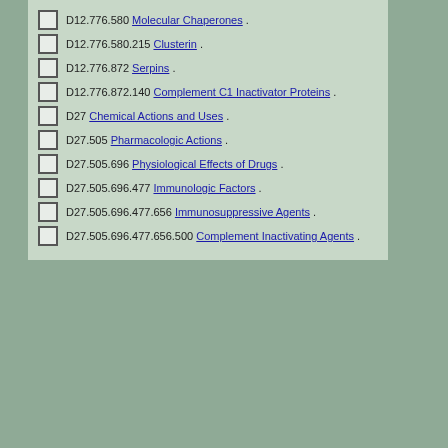D12.776.580 Molecular Chaperones .
D12.776.580.215 Clusterin .
D12.776.872 Serpins .
D12.776.872.140 Complement C1 Inactivator Proteins .
D27 Chemical Actions and Uses .
D27.505 Pharmacologic Actions .
D27.505.696 Physiological Effects of Drugs .
D27.505.696.477 Immunologic Factors .
D27.505.696.477.656 Immunosuppressive Agents .
D27.505.696.477.656.500 Complement Inactivating Agents .